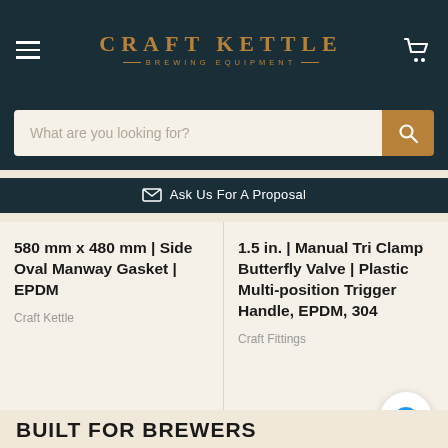CRAFT KETTLE · BREWING EQUIPMENT
What are you looking for?
Ask Us For A Proposal
580 mm x 480 mm | Side Oval Manway Gasket | EPDM
Craft Kettle
1.5 in. | Manual Tri Clamp Butterfly Valve | Plastic Multi-position Trigger Handle, EPDM, 304
Craft Fittings
BUILT FOR BREWERS